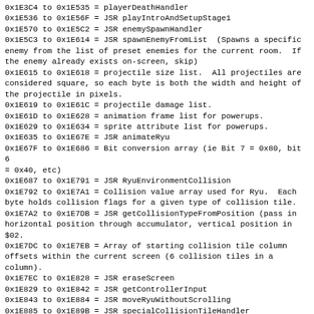0x1E3C4 to 0x1E535 = playerDeathHandler
0x1E536 to 0x1E56F = JSR playIntroAndSetupStage1
0x1E570 to 0x1E5C2 = JSR enemySpawnHandler
0x1E5C3 to 0x1E614 = JSR spawnEnemyFromList  (Spawns a specific enemy from the list of preset enemies for the current room.  If the enemy already exists on-screen, skip)
0x1E615 to 0x1E618 = projectile size list.  All projectiles are considered square, so each byte is both the width and height of the projectile in pixels.
0x1E619 to 0x1E61C = projectile damage list.
0x1E61D to 0x1E628 = animation frame list for powerups.
0x1E629 to 0x1E634 = sprite attribute list for powerups.
0x1E635 to 0x1E67E = JSR animateRyu
0x1E67F to 0x1E686 = Bit conversion array (ie Bit 7 = 0x80, bit 6 = 0x40, etc)
0x1E687 to 0x1E791 = JSR RyuEnvironmentCollision
0x1E792 to 0x1E7A1 = Collision value array used for Ryu.  Each byte holds collision flags for a given type of collision tile.
0x1E7A2 to 0x1E7DB = JSR getCollisionTypeFromPosition (pass in horizontal position through accumulator, vertical position in $02.
0x1E7DC to 0x1E7EB = Array of starting collision tile column offsets within the current screen (6 collision tiles in a column).
0x1E7EC to 0x1E828 = JSR eraseScreen
0x1E829 to 0x1E842 = JSR getControllerInput
0x1E843 to 0x1E884 = JSR moveRyuWithoutScrolling
0x1E885 to 0x1E89B = JSR specialCollisionTileHandler
0x1E89C to 0x1E8A7 = Functioon pointers for special collision tiles
0x1E8A8 to ------- = RTS (collision tiles A and B are unused, and simply RTS from here if reached).
0x1E8A9 to 0x1E8AF = Code for collision tile C: Goto cut-scene.
0x1E8B0 to 0x1E8E1 = Code for collision tile F: Advance stage.